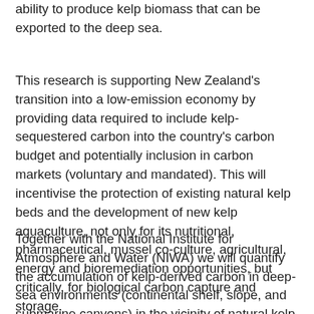ability to produce kelp biomass that can be exported to the deep sea.
This research is supporting New Zealand's transition into a low-emission economy by providing data required to include kelp-sequestered carbon into the country's carbon budget and potentially inclusion in carbon markets (voluntary and mandated). This will incentivise the protection of existing natural kelp beds and the development of new kelp aquaculture, not only for its nutritional, pharmaceutical, mussel co-culture, agricultural, energy and bioremediation opportunities, but critically, for biological carbon capture and storage.
Together with the National Institute for Atmosphere and Water (NIWA) we will quantify the accumulation of kelp-derived carbon in deep-sea environments (continental shelf, slope, and submarine canyons) in the vicinity of natural kelp beds. This will be achieved using a range techniques; stable isotope biomarkers as well as environmental DNA (eDNA) and the highly sensitive absolute digital PCR (dPCR) methods, combined with a direct...